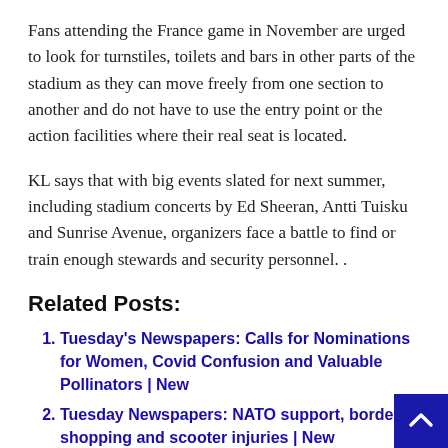Fans attending the France game in November are urged to look for turnstiles, toilets and bars in other parts of the stadium as they can move freely from one section to another and do not have to use the entry point or the action facilities where their real seat is located.
KL says that with big events slated for next summer, including stadium concerts by Ed Sheeran, Antti Tuisku and Sunrise Avenue, organizers face a battle to find or train enough stewards and security personnel. .
Related Posts:
Tuesday's Newspapers: Calls for Nominations for Women, Covid Confusion and Valuable Pollinators | New
Tuesday Newspapers: NATO support, border shopping and scooter injuries | New
Tuesday's Diaries: Vaccination Division, Pet Registration, Nazi Name Error | New